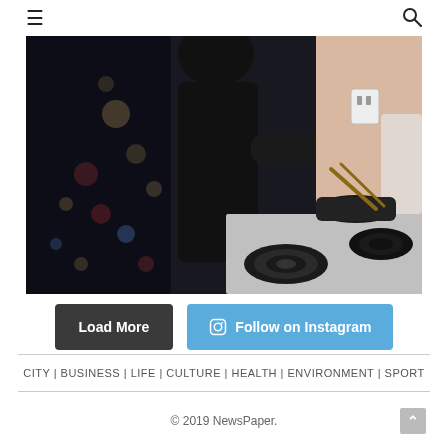≡  🔍
[Figure (photo): A person in black clothing cooking on an electric stovetop at night, city lights visible through a window in the background.]
Load More   Follow on Instagram
CITY | BUSINESS | LIFE | CULTURE | HEALTH | ENVIRONMENT | SPORT
© 2019 NewsPaper.